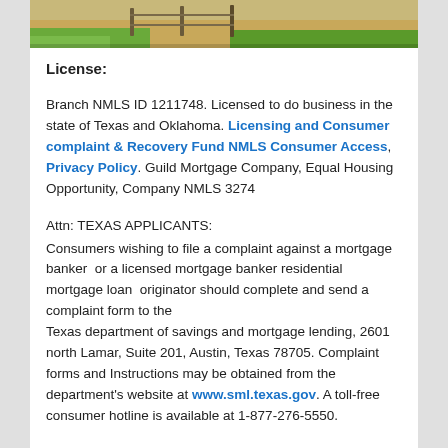[Figure (photo): Partial photo of a house exterior with green grass, fence, and landscaping, cropped at top of page]
License:
Branch NMLS ID 1211748. Licensed to do business in the state of Texas and Oklahoma. Licensing and Consumer complaint & Recovery Fund NMLS Consumer Access, Privacy Policy. Guild Mortgage Company, Equal Housing Opportunity, Company NMLS 3274
Attn: TEXAS APPLICANTS:
Consumers wishing to file a complaint against a mortgage banker  or a licensed mortgage banker residential mortgage loan  originator should complete and send a complaint form to the
Texas department of savings and mortgage lending, 2601 north Lamar, Suite 201, Austin, Texas 78705. Complaint forms and Instructions may be obtained from the department's website at www.sml.texas.gov. A toll-free consumer hotline is available at 1-877-276-5550.
The department maintains a recovery fund to make payments